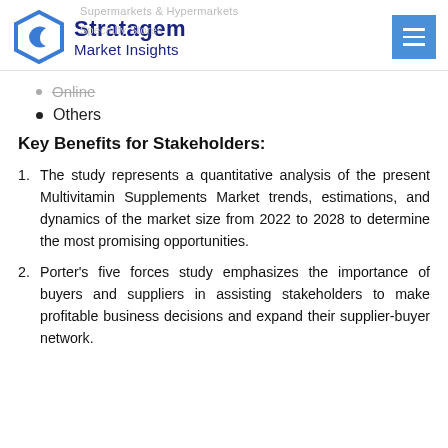Stratagem Market Insights
Online
Others
Key Benefits for Stakeholders:
The study represents a quantitative analysis of the present Multivitamin Supplements Market trends, estimations, and dynamics of the market size from 2022 to 2028 to determine the most promising opportunities.
Porter's five forces study emphasizes the importance of buyers and suppliers in assisting stakeholders to make profitable business decisions and expand their supplier-buyer network.